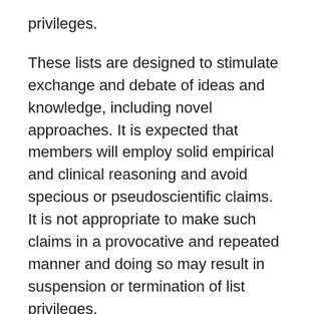privileges.
These lists are designed to stimulate exchange and debate of ideas and knowledge, including novel approaches. It is expected that members will employ solid empirical and clinical reasoning and avoid specious or pseudoscientific claims. It is not appropriate to make such claims in a provocative and repeated manner and doing so may result in suspension or termination of list privileges.
Names of patients or other confidential information should not ever be included in postings on these lists. In addition, list members must use their real names, sign all postings, and indicate when they have a financial interest in any